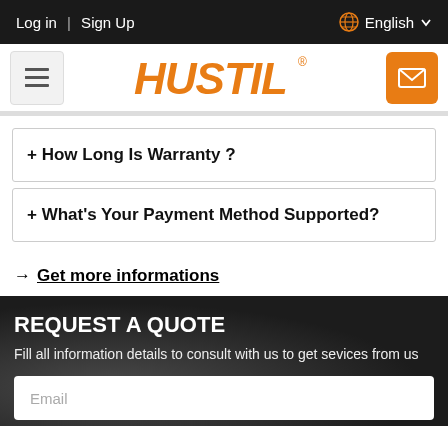Log in | Sign Up    English
[Figure (logo): HUSTIL brand logo in orange lettering with registered trademark symbol, flanked by a hamburger menu button on the left and an orange email button on the right]
+ How Long Is Warranty ?
+ What's Your Payment Method Supported?
→ Get more informations
REQUEST A QUOTE
Fill all information details to consult with us to get sevices from us
Email